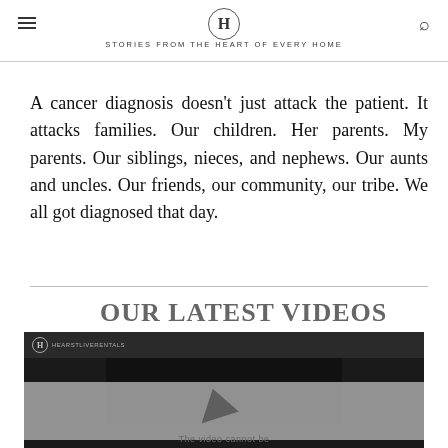H — STORIES FROM THE HEART OF EVERY HOME
A cancer diagnosis doesn't just attack the patient. It attacks families. Our children. Her parents. My parents. Our siblings, nieces, and nephews. Our aunts and uncles. Our friends, our community, our tribe. We all got diagnosed that day.
OUR LATEST VIDEOS
[Figure (screenshot): Video player screenshot showing a dark background with a play button overlay and text 'The video cannot be']